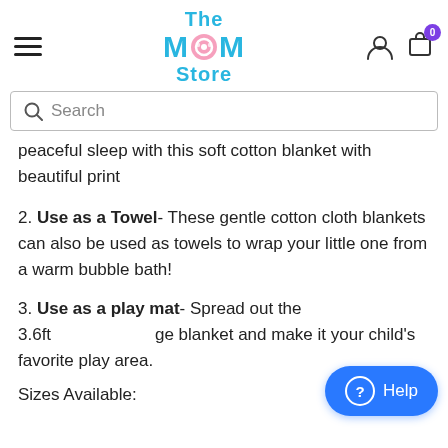The MOM Store — navigation header with hamburger menu, logo, user icon, cart icon (badge: 0)
Search
peaceful sleep with this soft cotton blanket with beautiful print
2. Use as a Towel- These gentle cotton cloth blankets can also be used as towels to wrap your little one from a warm bubble bath!
3. Use as a play mat- Spread out the 3.6ft large blanket and make it your child's favorite play area.
Sizes Available: